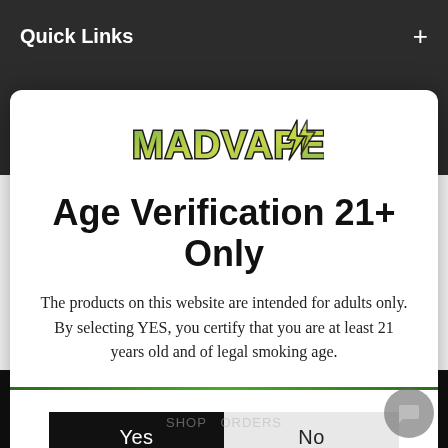Quick Links +
[Figure (logo): MADVAPES logo with lightning bolt graphic, stylized text in green and yellow gradient with black outline]
Age Verification 21+ Only
The products on this website are intended for adults only. By selecting YES, you certify that you are at least 21 years old and of legal smoking age.
Yes
No